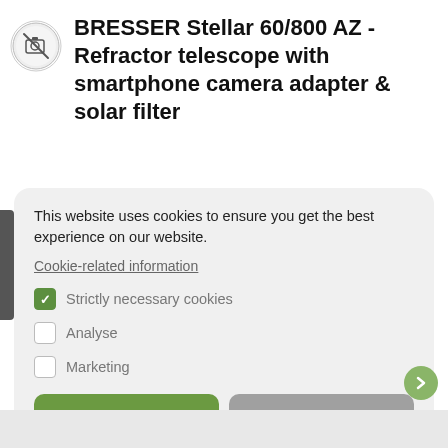BRESSER Stellar 60/800 AZ - Refractor telescope with smartphone camera adapter & solar filter
This website uses cookies to ensure you get the best experience on our website.
Cookie-related information
Strictly necessary cookies
Analyse
Marketing
Accept all
Save